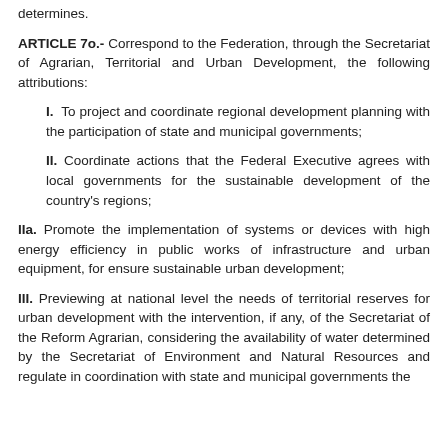determines.
ARTICLE 7o.- Correspond to the Federation, through the Secretariat of Agrarian, Territorial and Urban Development, the following attributions:
I. To project and coordinate regional development planning with the participation of state and municipal governments;
II. Coordinate actions that the Federal Executive agrees with local governments for the sustainable development of the country's regions;
IIa. Promote the implementation of systems or devices with high energy efficiency in public works of infrastructure and urban equipment, for ensure sustainable urban development;
III. Previewing at national level the needs of territorial reserves for urban development with the intervention, if any, of the Secretariat of the Reform Agrarian, considering the availability of water determined by the Secretariat of Environment and Natural Resources and regulate in coordination with state and municipal governments the